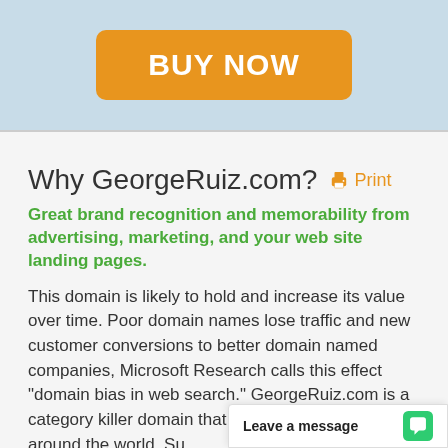[Figure (other): BUY NOW orange button on light blue background header]
Why GeorgeRuiz.com?  Print
Great brand recognition and memorability from advertising, marketing, and your web site landing pages.
This domain is likely to hold and increase its value over time. Poor domain names lose traffic and new customer conversions to better domain named companies, Microsoft Research calls this effect "domain bias in web search." GeorgeRuiz.com is a category killer domain that may be commonly used around the world. Su... a clear competitive a...
[Figure (other): Leave a message chat widget bar at bottom right]